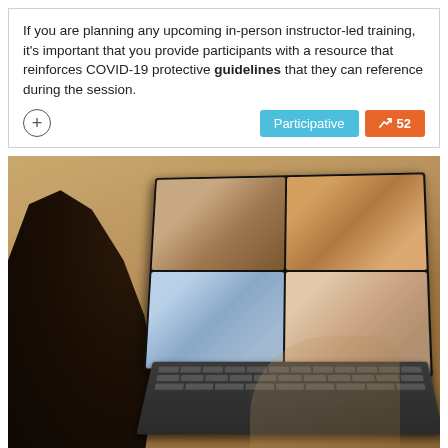If you are planning any upcoming in-person instructor-led training, it's important that you provide participants with a resource that reinforces COVID-19 protective guidelines that they can reference during the session.
[Figure (other): Badges/buttons row: a plus (+) circle button on the left, and two badges on the right: 'Participative' (cyan) and '52' with upward trend arrow (orange)]
[Figure (photo): Person seen from behind sitting at a wooden table using a tablet/laptop with a video conferencing call showing four people on screen]